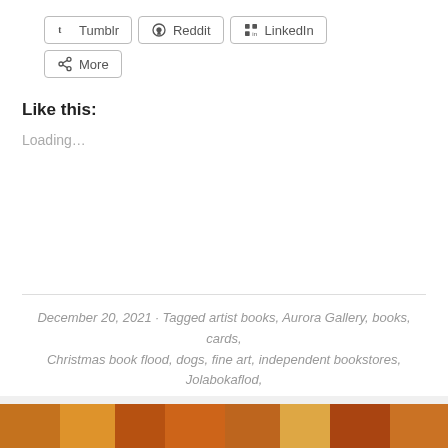Tumblr
Reddit
LinkedIn
More
Like this:
Loading...
December 20, 2021 · Tagged artist books, Aurora Gallery, books, cards, Christmas book flood, dogs, fine art, independent bookstores, Jolabokaflod, jolly book flood, local bookstores, self-care, selfpublishing, shop local, sketchbook, The Professional Dog, used books · 14 Comments
[Figure (photo): Partial view of colorful artwork or book covers with warm orange, yellow and brown tones at the bottom of the page]